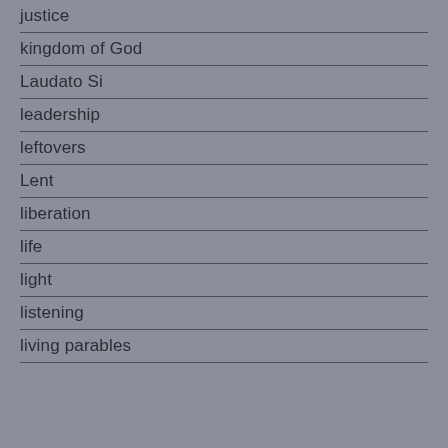justice
kingdom of God
Laudato Si
leadership
leftovers
Lent
liberation
life
light
listening
living parables